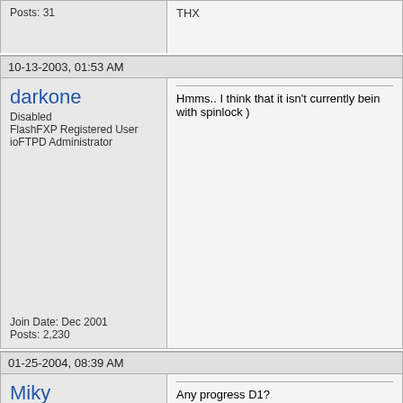Posts: 31
10-13-2003, 01:53 AM
darkone
Disabled
FlashFXP Registered User
ioFTPD Administrator
Join Date: Dec 2001
Posts: 2,230
Hmms.. I think that it isn't currently bein with spinlock )
01-25-2004, 08:39 AM
Miky
Member
Join Date: Feb 2003
Posts: 31
Any progress D1?
Now it could be helpful.
THX